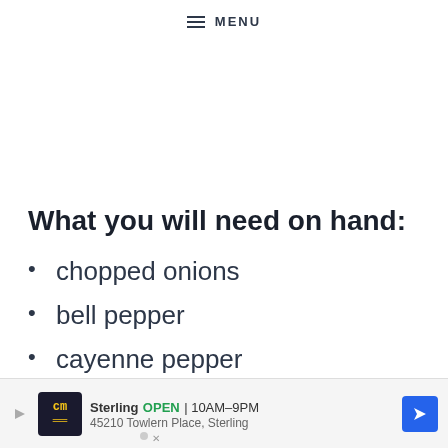≡ MENU
What you will need on hand:
chopped onions
bell pepper
cayenne pepper
white sugar
[Figure (other): Advertisement banner: cm logo, Sterling OPEN 10AM-9PM, 45210 Towlern Place, Sterling, with navigation arrow icon]